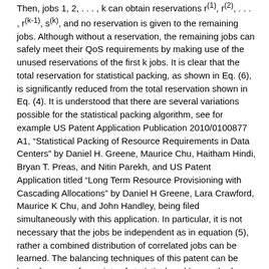Then, jobs 1, 2, . . . , k can obtain reservations r(1), r(2), . . . , r(k-1), s(k), and no reservation is given to the remaining jobs. Although without a reservation, the remaining jobs can safely meet their QoS requirements by making use of the unused reservations of the first k jobs. It is clear that the total reservation for statistical packing, as shown in Eq. (6), is significantly reduced from the total reservation shown in Eq. (4). It is understood that there are several variations possible for the statistical packing algorithm, see for example US Patent Application Publication 2010/0100877 A1, "Statistical Packing of Resource Requirements in Data Centers" by Daniel H. Greene, Maurice Chu, Haitham Hindi, Bryan T. Preas, and Nitin Parekh, and US Patent Application titled "Long Term Resource Provisioning with Cascading Allocations" by Daniel H Greene, Lara Crawford, Maurice K Chu, and John Handley, being filed simultaneously with this application. In particular, it is not necessary that the jobs be independent as in equation (5), rather a combined distribution of correlated jobs can be learned. The balancing techniques of this patent can be based on any of a variety of statistical packing methods.